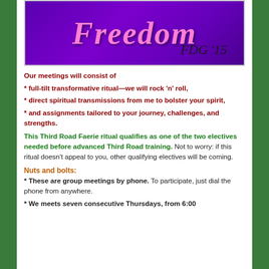[Figure (logo): Purple gradient banner with 'Freedom' in pink italic text and 'FDG 15' in dark text at bottom right]
Our meetings will consist of
* full-tilt transformative ritual—we will rock 'n' roll,
* direct spiritual transmissions from me to bolster your spirit,
* and assignments tailored to your journey, challenges, and strengths.
This Third Road Faerie ritual qualifies as one of the two electives needed before advanced Third Road training. Not to worry: if this ritual doesn't appeal to you, other qualifying electives will be coming.
Nuts and bolts:
* These are group meetings by phone. To participate, just dial the phone from anywhere.
* We meets seven consecutive Thursdays, from 6:00